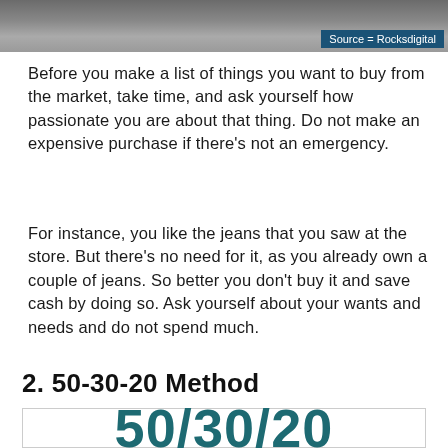[Figure (photo): Top portion of an outdoor photo (road/path scene) with a blue 'Source = Rocksdigital' label in the top-right corner]
Before you make a list of things you want to buy from the market, take time, and ask yourself how passionate you are about that thing. Do not make an expensive purchase if there’s not an emergency.
For instance, you like the jeans that you saw at the store. But there’s no need for it, as you already own a couple of jeans. So better you don’t buy it and save cash by doing so. Ask yourself about your wants and needs and do not spend much.
2. 50-30-20 Method
[Figure (infographic): Box/card element displaying the text '50/30/20' in large bold teal font]